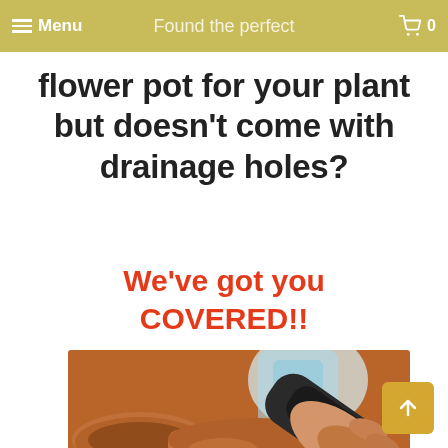Menu | Found the perfect | 0
flower pot for your plant but doesn't come with drainage holes?
We've got you COVERED!!
[Figure (photo): A close-up photo of a hand using a drill to make a drainage hole in a terracotta flower pot, with a water bottle visible in the background.]